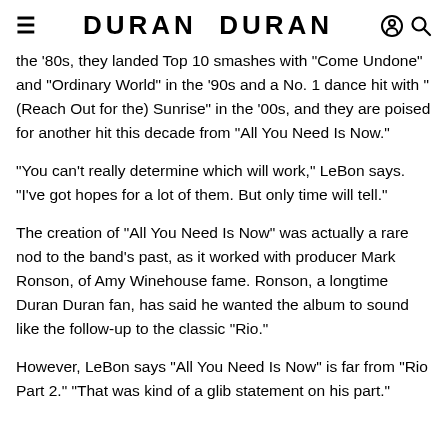DURAN DURAN
the '80s, they landed Top 10 smashes with "Come Undone" and "Ordinary World" in the '90s and a No. 1 dance hit with "(Reach Out for the) Sunrise" in the '00s, and they are poised for another hit this decade from "All You Need Is Now."
"You can't really determine which will work," LeBon says. "I've got hopes for a lot of them. But only time will tell."
The creation of "All You Need Is Now" was actually a rare nod to the band's past, as it worked with producer Mark Ronson, of Amy Winehouse fame. Ronson, a longtime Duran Duran fan, has said he wanted the album to sound like the follow-up to the classic "Rio."
However, LeBon says "All You Need Is Now" is far from "Rio Part 2." "That was kind of a glib statement on his part."